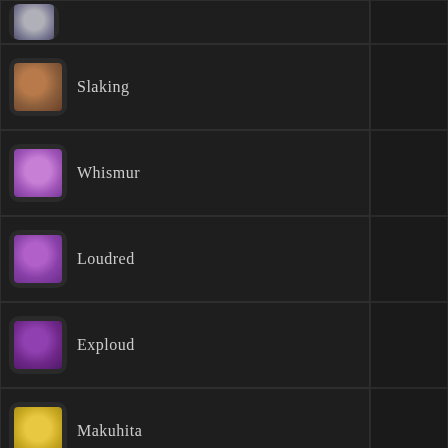| Pokemon |  |  |
| --- | --- | --- |
| Slaking |  |  |
| Whismur |  |  |
| Loudred |  |  |
| Exploud |  |  |
| Makuhita |  |  |
| Hariyama |  |  |
| Sableye |  |  |
| Mawile |  |  |
| Aggron |  |  |
| Meditite |  |  |
| Medicham |  |  |
| Plusle |  |  |